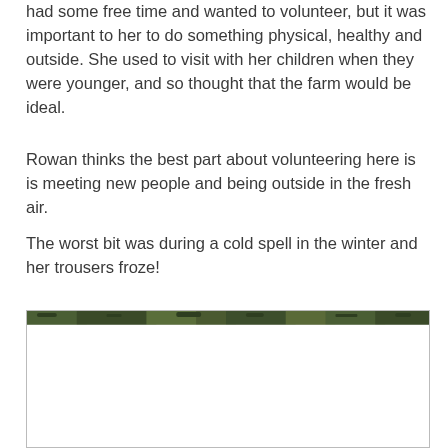had some free time and wanted to volunteer, but it was important to her to do something physical, healthy and outside. She used to visit with her children when they were younger, and so thought that the farm would be ideal.
Rowan thinks the best part about volunteering here is is meeting new people and being outside in the fresh air.
The worst bit was during a cold spell in the winter and her trousers froze!
[Figure (photo): A photograph showing a lush green outdoor scene, likely a farm or countryside setting. The top strip shows dark green foliage or vegetation, with the rest of the image mostly white/light (possibly sky or overexposed area).]